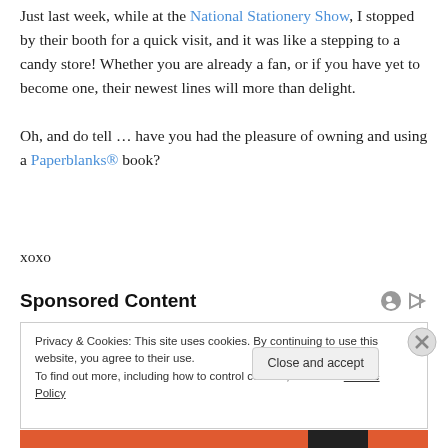Just last week, while at the National Stationery Show, I stopped by their booth for a quick visit, and it was like a stepping to a candy store! Whether you are already a fan, or if you have yet to become one, their newest lines will more than delight.
Oh, and do tell … have you had the pleasure of owning and using a Paperblanks® book?
xoxo
Sponsored Content
Privacy & Cookies: This site uses cookies. By continuing to use this website, you agree to their use.
To find out more, including how to control cookies, see here: Cookie Policy
Close and accept